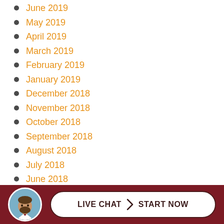June 2019
May 2019
April 2019
March 2019
February 2019
January 2019
December 2018
November 2018
October 2018
September 2018
August 2018
July 2018
June 2018
May 2018
April 2018
March 2018
February 2018
LIVE CHAT  START NOW